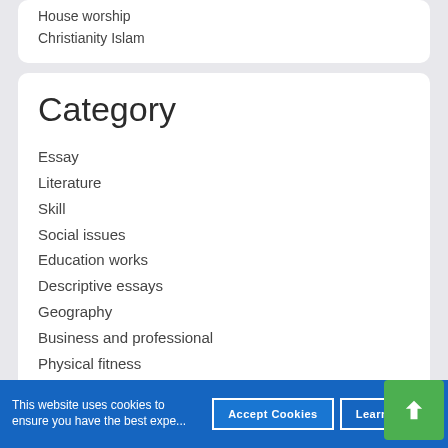House worship
Christianity Islam
Category
Essay
Literature
Skill
Social issues
Education works
Descriptive essays
Geography
Business and professional
Physical fitness
Art essays
Battle
Character essays
Biography essays
Background
Mathematics
This website uses cookies to ensure you have the best expe...
Accept Cookies
Learn More